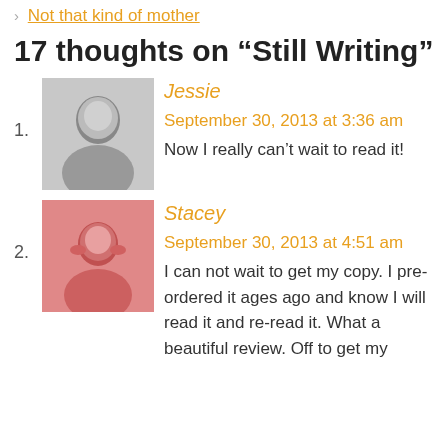Not that kind of mother
17 thoughts on “Still Writing”
1. Jessie
September 30, 2013 at 3:36 am
Now I really can’t wait to read it!
2. Stacey
September 30, 2013 at 4:51 am
I can not wait to get my copy. I pre-ordered it ages ago and know I will read it and re-read it. What a beautiful review. Off to get my